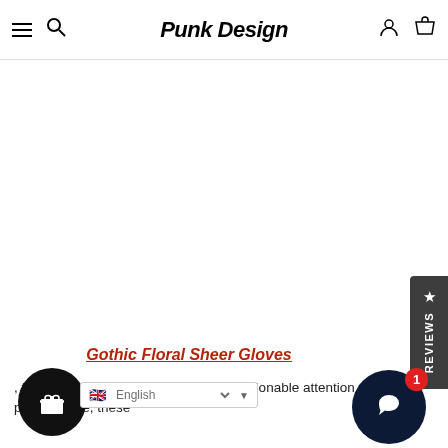Punk Design
[Figure (screenshot): Blank product image area (white/empty image slot for Gothic Floral Sheer Gloves product)]
Gothic Floral Sheer Gloves
, for those who are looking for more fashionable attention than its practical use, these